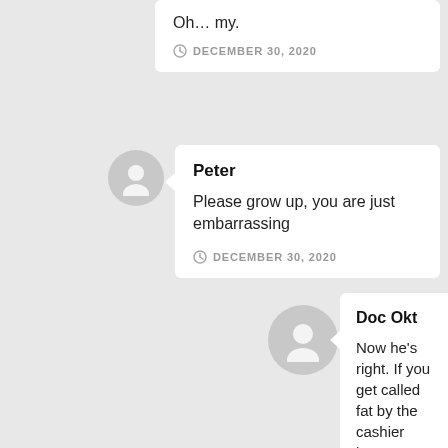Oh… my.
DECEMBER 30, 2020
Peter
Please grow up, you are just embarrassing
DECEMBER 30, 2020
Doc Okt
Now he's right. If you get called fat by the cashier because you order 2 menus at a fast food place, they would be fired.